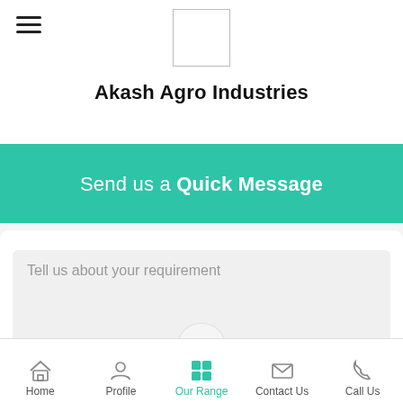[Figure (screenshot): Hamburger menu icon (three horizontal lines) in top-left corner]
[Figure (logo): Empty white rectangle logo placeholder, centered at top]
Akash Agro Industries
Send us a Quick Message
Tell us about your requirement
Home  Profile  Our Range  Contact Us  Call Us